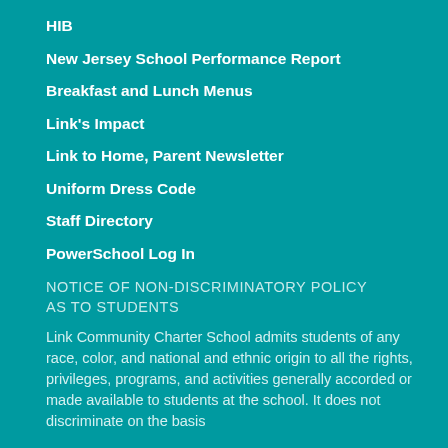HIB
New Jersey School Performance Report
Breakfast and Lunch Menus
Link's Impact
Link to Home, Parent Newsletter
Uniform Dress Code
Staff Directory
PowerSchool Log In
NOTICE OF NON-DISCRIMINATORY POLICY AS TO STUDENTS
Link Community Charter School admits students of any race, color, and national and ethnic origin to all the rights, privileges, programs, and activities generally accorded or made available to students at the school. It does not discriminate on the basis